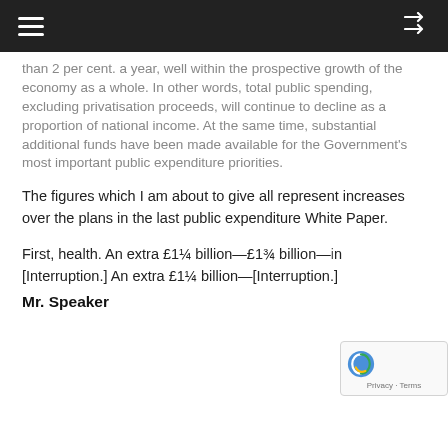☰  ⇌
than 2 per cent. a year, well within the prospective growth of the economy as a whole. In other words, total public spending, excluding privatisation proceeds, will continue to decline as a proportion of national income. At the same time, substantial additional funds have been made available for the Government's most important public expenditure priorities.
The figures which I am about to give all represent increases over the plans in the last public expenditure White Paper.
First, health. An extra £1¼ billion—£1¾ billion—[Interruption.] An extra £1¼ billion—[Interruption.]
Mr. Speaker